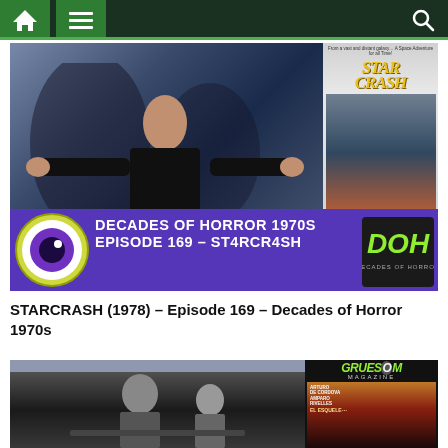Navigation bar with home, menu, and search icons
[Figure (screenshot): Thumbnail image for Decades of Horror 1970s Episode 169 - Starcrash. Shows a man in black costume with arms spread, with a Starcrash movie poster overlay, and a purple banner with eyeball logo reading DECADES OF HORROR 1970S EPISODE 169 - STARCRASH and DOH logo.]
STARCRASH (1978) – Episode 169 – Decades of Horror 1970s
[Figure (screenshot): Thumbnail image showing black and white film still with Gruesom Magazine cover overlay featuring ARTURO DE CORDOVA and AMPARO RIVELLES, EL ESQUELETO DE LA SEÑORA MORALES.]